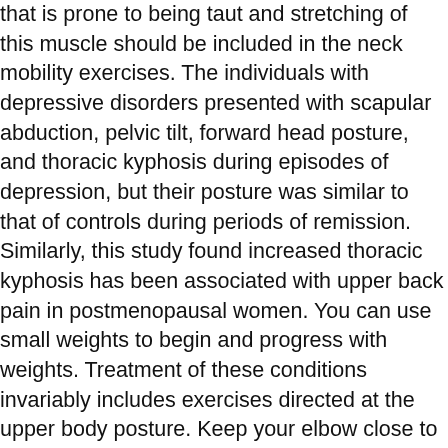that is prone to being taut and stretching of this muscle should be included in the neck mobility exercises. The individuals with depressive disorders presented with scapular abduction, pelvic tilt, forward head posture, and thoracic kyphosis during episodes of depression, but their posture was similar to that of controls during periods of remission. Similarly, this study found increased thoracic kyphosis has been associated with upper back pain in postmenopausal women. You can use small weights to begin and progress with weights. Treatment of these conditions invariably includes exercises directed at the upper body posture. Keep your elbow close to your body. How to Massage Shoulders Usually, the neck and the spinal region are also covered while you are massaging the shoulders. Repeated shoulder movement in individuals employed in jobs requiring overhead activities such as electricians and construction workers can lead to ongoing irritation of the structures in the subacromial space. Why Massage Therapy Needs Critical Thinking. Draw a vertical line along the mid line of your torso. A shoulder massage increases the temperature of muscles resulting in the improvement of the productivity and